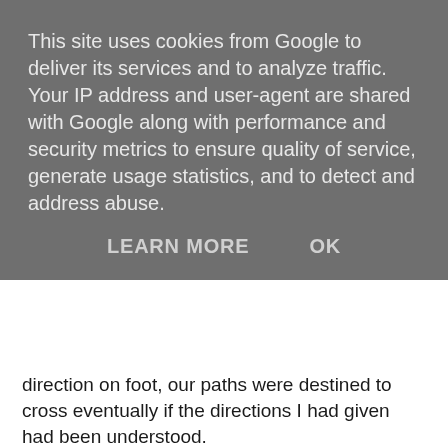This site uses cookies from Google to deliver its services and to analyze traffic. Your IP address and user-agent are shared with Google along with performance and security metrics to ensure quality of service, generate usage statistics, and to detect and address abuse.
LEARN MORE   OK
direction on foot, our paths were destined to cross eventually if the directions I had given had been understood.
Our paths didn't cross. Twice he came into view, searching the ground frantically trying to make visual contact with his 'dearly beloved' Aunty, only to fail and disappear out of view on the hill ground once again.
This behaviour had me somewhat perplexed, after all, I could see him as clear as day and yet it seemed he was unable to see me.
I stood on a raised bit of ground, rolled a fag, grinned to myself and watched the lad buzzing in and out of view like a